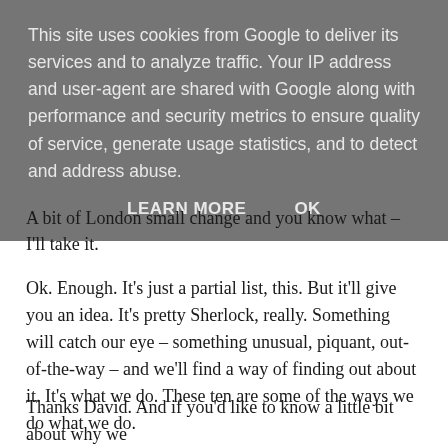This site uses cookies from Google to deliver its services and to analyze traffic. Your IP address and user-agent are shared with Google along with performance and security metrics to ensure quality of service, generate usage statistics, and to detect and address abuse.
LEARN MORE   OK
A bit of London small change and you know what – I'll take it.
Ok. Enough. It's just a partial list, this. But it'll give you an idea. It's pretty Sherlock, really. Something will catch our eye – something unusual, piquant, out-of-the-way – and we'll find a way of finding out about it. It's what we do. These ten are some of the ways we do what we do.
Elementary.
Thanks David. And if you'd like to know a little bit about why we